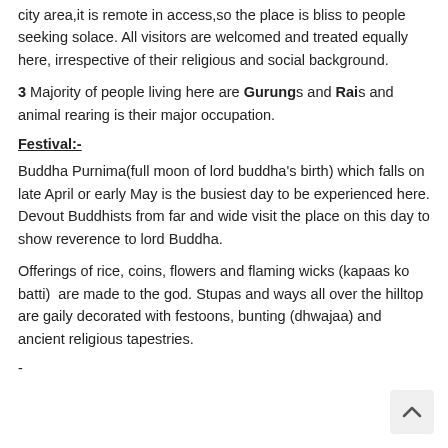city area,it is remote in access,so the place is bliss to people seeking solace. All visitors are welcomed and treated equally here, irrespective of their religious and social background.
3 Majority of people living here are Gurungs and Rais and animal rearing is their major occupation.
Festival:-
Buddha Purnima(full moon of lord buddha's birth) which falls on late April or early May is the busiest day to be experienced here. Devout Buddhists from far and wide visit the place on this day to show reverence to lord Buddha.
Offerings of rice, coins, flowers and flaming wicks (kapaas ko batti)  are made to the god. Stupas and ways all over the hilltop are gaily decorated with festoons, bunting (dhwajaa) and ancient religious tapestries.
-